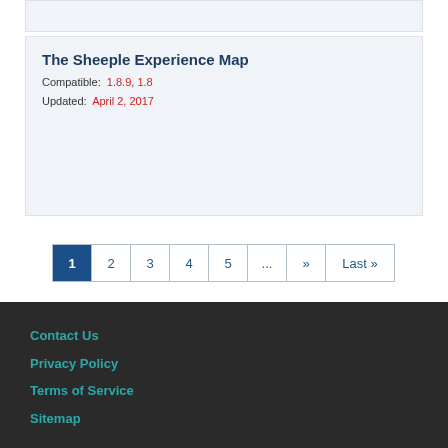The Sheeple Experience Map
Compatible: 1.8.9, 1.8
Updated: April 2, 2017
1 2 3 4 5 ... » Last »
Contact Us
Privacy Policy
Terms of Service
Sitemap